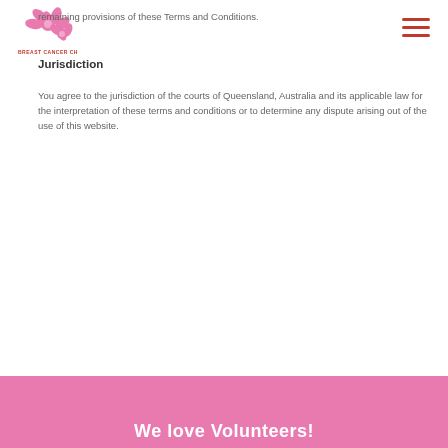Breast Cancer Charity logo and navigation
remaining provisions of these Terms and Conditions.
Jurisdiction
You agree to the jurisdiction of the courts of Queensland, Australia and its applicable law for the interpretation of these terms and conditions or to determine any dispute arising out of the use of this website.
We love Volunteers!